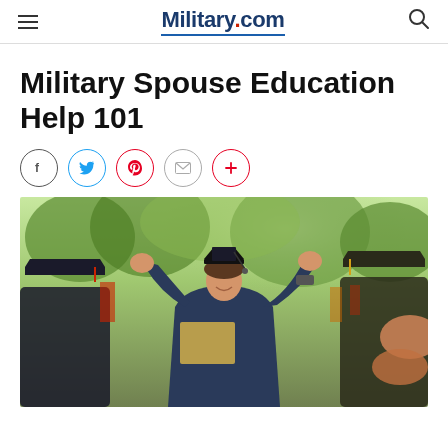Military.com
Military Spouse Education Help 101
[Figure (photo): A smiling female graduate in cap and gown with arms raised holding a diploma, surrounded by other graduates clapping at an outdoor graduation ceremony with green trees in the background.]